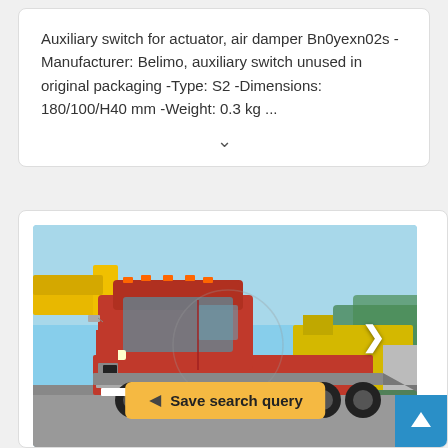Auxiliary switch for actuator, air damper Bn0yexn02s - Manufacturer: Belimo, auxiliary switch unused in original packaging -Type: S2 -Dimensions: 180/100/H40 mm -Weight: 0.3 kg ...
[Figure (photo): A red DAF flatbed/rollback truck with yellow container attachment, parked in an outdoor lot. Blue sky visible in background with trees.]
Save search query